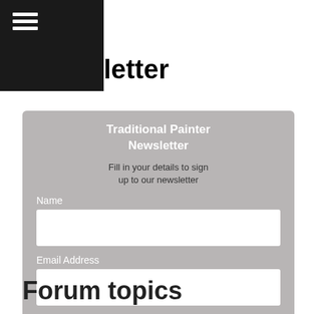Newsletter
Traditional Painter Newsletter
Fill in your details to sign up to our newsletter
Name
Email Address
Painter Background
Subscribe
Forum topics